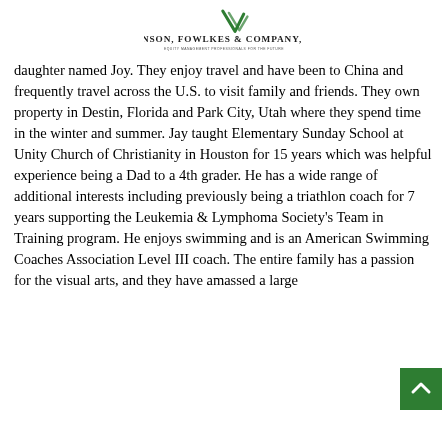Branson, Fowlkes & Company, Inc.
daughter named Joy. They enjoy travel and have been to China and frequently travel across the U.S. to visit family and friends. They own property in Destin, Florida and Park City, Utah where they spend time in the winter and summer. Jay taught Elementary Sunday School at Unity Church of Christianity in Houston for 15 years which was helpful experience being a Dad to a 4th grader. He has a wide range of additional interests including previously being a triathlon coach for 7 years supporting the Leukemia & Lymphoma Society's Team in Training program. He enjoys swimming and is an American Swimming Coaches Association Level III coach. The entire family has a passion for the visual arts, and they have amassed a large